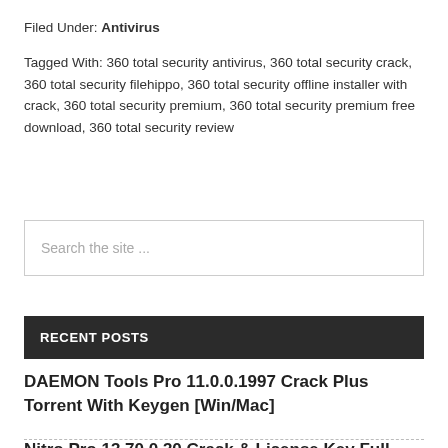Filed Under: Antivirus
Tagged With: 360 total security antivirus, 360 total security crack, 360 total security filehippo, 360 total security offline installer with crack, 360 total security premium, 360 total security premium free download, 360 total security review
Search the site ...
RECENT POSTS
DAEMON Tools Pro 11.0.0.1997 Crack Plus Torrent With Keygen [Win/Mac]
Nitro Pro 13.70.0.30 Crack & License Key Full Free